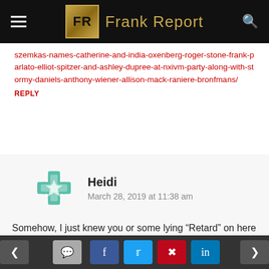Frank Report
szemkas-names-catherine-and-india-oxenberg-roger-stone-frank-parlato-elliot-spitzer-and-ashley-dupree-at-nxivm-party-along-with-stormy-daniels-anthony-wiener-allison-mack-raniere-bronfmans/
REPLY
Heidi
March 28, 2019 at 11:38 am
Somehow, I just knew you or some lying “Retard” on here was going to say this makes Ben’s story true, Schlock.